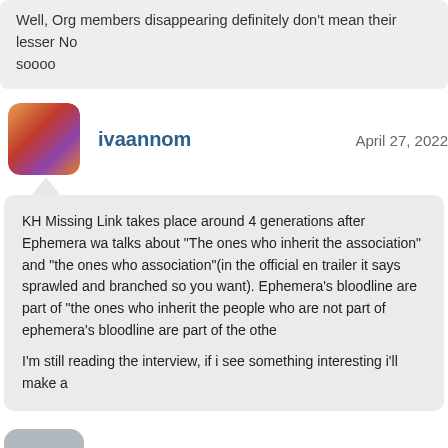Well, Org members disappearing definitely don't mean their lesser No
soooo
ivaannom
April 27, 2022
KH Missing Link takes place around 4 generations after Ephemera wa talks about "The ones who inherit the association" and "the ones who association"(in the official en trailer it says sprawled and branched so you want). Ephemera's bloodline are part of "the ones who inherit the people who are not part of ephemera's bloodline are part of the othe

I'm still reading the interview, if i see something interesting i'll make a
CDD
April 27, 2022